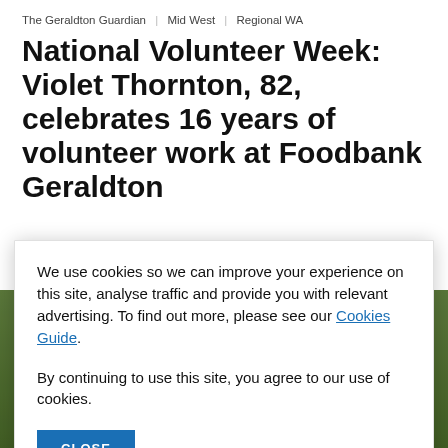The Geraldton Guardian | Mid West | Regional WA
National Volunteer Week: Violet Thornton, 82, celebrates 16 years of volunteer work at Foodbank Geraldton
Jessica Moroney | Geraldton Guardian
[Figure (photo): Photo of a person wearing a high-visibility vest, partially obscured by cookie consent modal]
We use cookies so we can improve your experience on this site, analyse traffic and provide you with relevant advertising. To find out more, please see our Cookies Guide.

By continuing to use this site, you agree to our use of cookies.
CLOSE